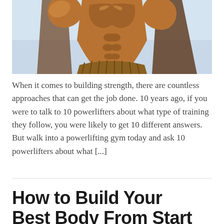[Figure (photo): A bronze statue of a muscular figure flexing, photographed against a light blue sky background. The statue shows detailed musculature of the torso and arms.]
When it comes to building strength, there are countless approaches that can get the job done. 10 years ago, if you were to talk to 10 powerlifters about what type of training they follow, you were likely to get 10 different answers. But walk into a powerlifting gym today and ask 10 powerlifters about what [...]
How to Build Your Best Body From Start